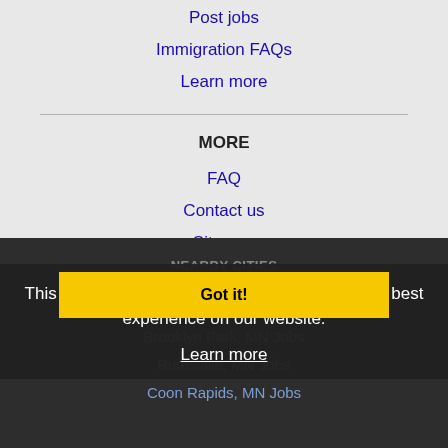Post jobs
Immigration FAQs
Learn more
MORE
FAQ
Contact us
Sitemap
Legal
Privacy
This website uses cookies to ensure you get the best experience on our website.
Learn more
Got it!
NEARBY CITIES
Apple Valley, MN Jobs
Blaine, MN Jobs
Brooklyn Park, MN Jobs
Burnsville, MN Jobs
Coon Rapids, MN Jobs